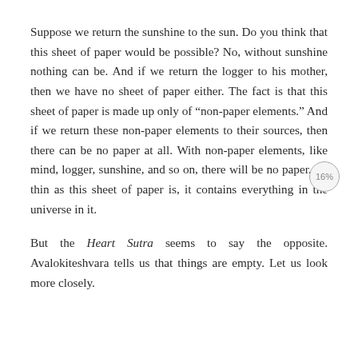Suppose we return the sunshine to the sun. Do you think that this sheet of paper would be possible? No, without sunshine nothing can be. And if we return the logger to his mother, then we have no sheet of paper either. The fact is that this sheet of paper is made up only of “non-paper elements.” And if we return these non-paper elements to their sources, then there can be no paper at all. With non-paper elements, like mind, logger, sunshine, and so on, there will be no paper. As thin as this sheet of paper is, it contains everything in the universe in it.
But the Heart Sutra seems to say the opposite. Avalokiteshvara tells us that things are empty. Let us look more closely.